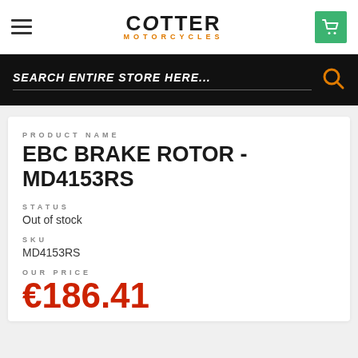[Figure (logo): Cotter Motorcycles logo with hamburger menu and shopping cart button]
SEARCH ENTIRE STORE HERE...
PRODUCT NAME
EBC BRAKE ROTOR - MD4153RS
STATUS
Out of stock
SKU
MD4153RS
OUR PRICE
€186.41